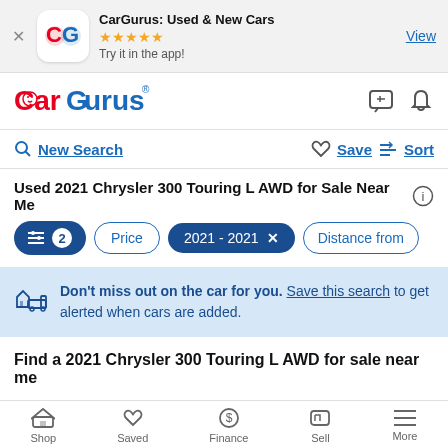[Figure (screenshot): CarGurus app banner with icon, 5-star rating, and View button]
[Figure (logo): CarGurus logo in red and blue with nav icons]
New Search   Save   Sort
Used 2021 Chrysler 300 Touring L AWD for Sale Near Me
Filter chips: 2 filters active, Price, 2021 - 2021 ×, Distance from
Don't miss out on the car for you. Save this search to get alerted when cars are added.
Find a 2021 Chrysler 300 Touring L AWD for sale near me
Shop   Saved   Finance   Sell   More